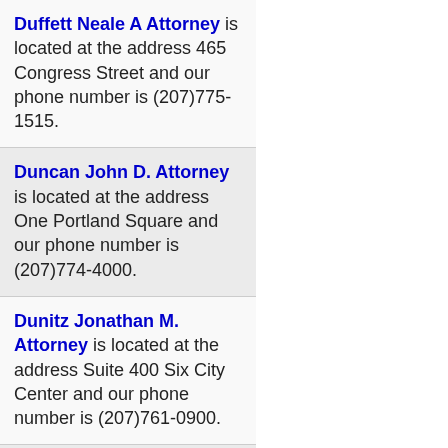Duffett Neale A Attorney is located at the address 465 Congress Street and our phone number is (207)775-1515.
Duncan John D. Attorney is located at the address One Portland Square and our phone number is (207)774-4000.
Dunitz Jonathan M. Attorney is located at the address Suite 400 Six City Center and our phone number is (207)761-0900.
Dunlap Mark E Norman Hanson Detroy LLC is located at the address 415 Congress St, #500 and our phone number is (207) 774-7000.